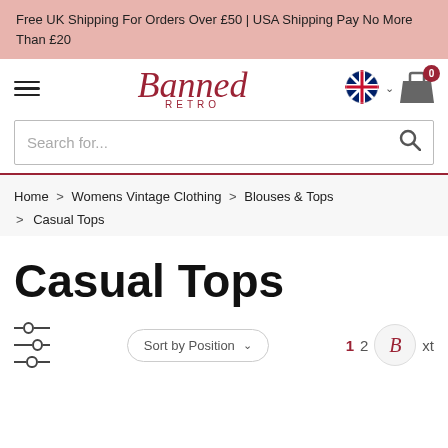Free UK Shipping For Orders Over £50 | USA Shipping Pay No More Than £20
[Figure (logo): Banned Retro logo in script font with 'RETRO' in small caps below]
Search for...
Home > Womens Vintage Clothing > Blouses & Tops > Casual Tops
Casual Tops
Sort by Position  1  2